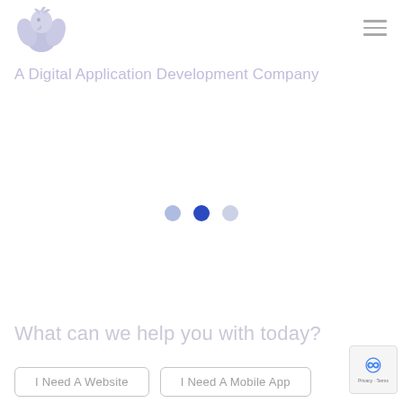[Figure (logo): Eagle/griffin logo mark in light purple/lavender tones, top left corner]
A Digital Application Development Company
[Figure (other): Three horizontal lines hamburger menu icon, top right]
[Figure (other): Slider indicator dots: three circles — light blue, dark blue (active), light gray]
What can we help you with today?
I Need A Website
I Need A Mobile App